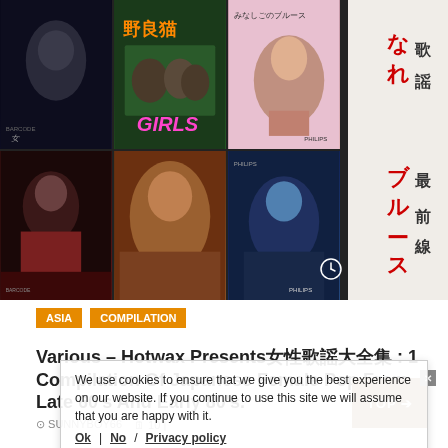[Figure (photo): Collage of Japanese female pop music album covers from the late 60s and early 80s, arranged in a 3x2 grid, with a vertical Japanese text panel on the right side showing kanji characters in red on a light background]
ASIA
COMPILATION
Various – Hotwax Presents女性歌謡大全集 : 1 Compilation Of Japanese Female Pop From Late 60's And Early 80's.
We use cookies to ensure that we give you the best experience on our website. If you continue to use this site we will assume that you are happy with it.
Ok | No / Privacy policy
SUNNYBOY66
10 |